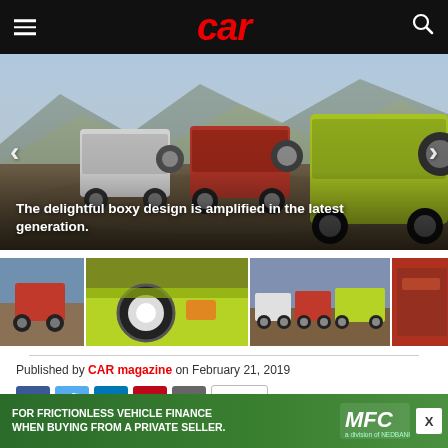CAR
[Figure (photo): Three generations of Suzuki Jimny SUVs photographed from behind on a rocky hilltop, a white older model, a red mid-generation, and a lime green newest generation.]
The delightful boxy design is amplified in the latest generation.
[Figure (photo): Thumbnail grid of four Suzuki Jimny photos: red Jimny on rocks, close-up of lime green Jimny front grille and headlight, three Jimnys together on hilltop, red Jimny interior door.]
Published by CAR magazine on February 21, 2019
[Figure (screenshot): Social sharing buttons: Facebook, Twitter, LinkedIn, Pinterest, Email, and a copy link button.]
[Figure (infographic): Advertisement bar: FOR FRICTIONLESS VEHICLE FINANCE WHEN BUYING FROM A PRIVATE SELLER. MFC logo. Close button X.]